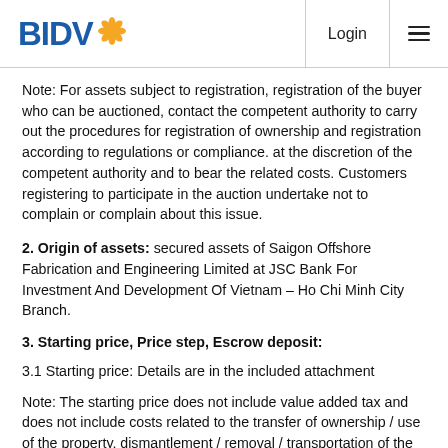BIDV | Login
Note: For assets subject to registration, registration of the buyer who can be auctioned, contact the competent authority to carry out the procedures for registration of ownership and registration according to regulations or compliance. at the discretion of the competent authority and to bear the related costs. Customers registering to participate in the auction undertake not to complain or complain about this issue.
2. Origin of assets: secured assets of Saigon Offshore Fabrication and Engineering Limited at JSC Bank For Investment And Development Of Vietnam – Ho Chi Minh City Branch.
3. Starting price, Price step, Escrow deposit:
3.1 Starting price: Details are in the included attachment
Note: The starting price does not include value added tax and does not include costs related to the transfer of ownership / use of the property, dismantlement / removal / transportation of the property, registration fee, notary fees, registration fees and